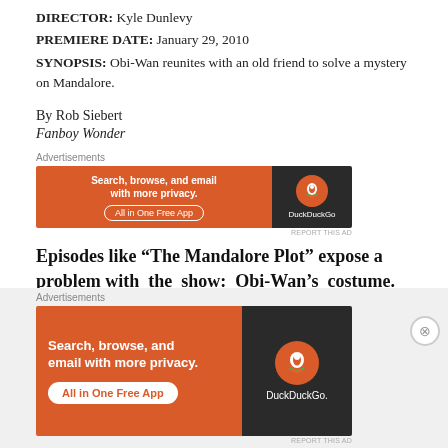DIRECTOR: Kyle Dunlevy
PREMIERE DATE: January 29, 2010
SYNOPSIS: Obi-Wan reunites with an old friend to solve a mystery on Mandalore.
By Rob Siebert
Fanboy Wonder
[Figure (other): DuckDuckGo advertisement banner: Search, browse, and email with more privacy. All in One Free App. Orange and dark background with DuckDuckGo logo.]
REPORT THIS AD
Episodes like “The Mandalore Plot” expose a problem with the show: Obi-Wan’s costume.
For whatever
[Figure (other): DuckDuckGo advertisement banner large: Search, browse, and email with more privacy. All in One Free App. Orange and dark background with DuckDuckGo logo and phone mockup.]
REPORT THIS AD